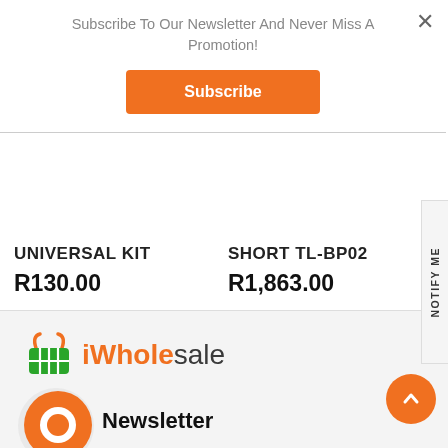Subscribe To Our Newsletter And Never Miss A Promotion!
Subscribe
×
UNIVERSAL KIT
R130.00
SHORT TL-BP02
R1,863.00
NOTIFY ME
[Figure (logo): iWholesale logo with green basket icon and orange/green text]
[Figure (logo): Orange circle chat/newsletter icon]
Newsletter